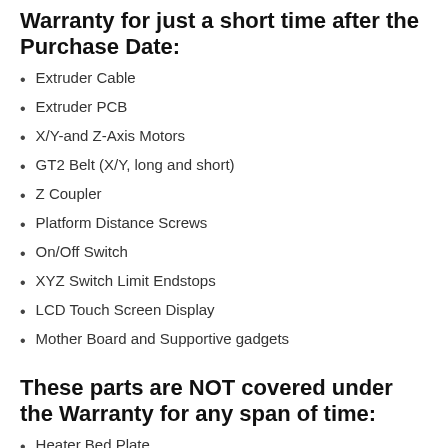Warranty for just a short time after the Purchase Date:
Extruder Cable
Extruder PCB
X/Y-and Z-Axis Motors
GT2 Belt (X/Y, long and short)
Z Coupler
Platform Distance Screws
On/Off Switch
XYZ Switch Limit Endstops
LCD Touch Screen Display
Mother Board and Supportive gadgets
These parts are NOT covered under the Warranty for any span of time:
Heater Bed Plate
Punctured Boards